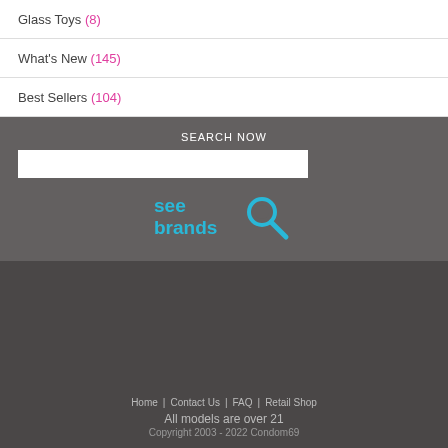Glass Toys (8)
What's New (145)
Best Sellers (104)
SEARCH NOW
[Figure (logo): See Brands logo with magnifying glass icon in cyan/blue color]
Home | Contact Us | FAQ | Retail Shop
All models are over 21
Copyright 2003 - 2022 Condom69